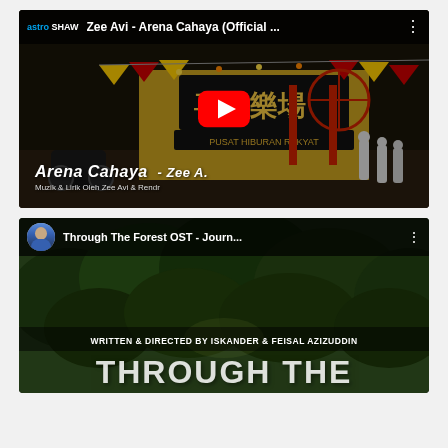[Figure (screenshot): YouTube video thumbnail for 'Zee Avi - Arena Cahaya (Official ...)' by astro SHAW. Shows a nighttime fairground scene with motorcycles and people, a red YouTube play button in the center, and text overlay 'Arena Cahaya - Zee A.' and 'Muzik & Lirik Oleh Zee Avi & Rendr'.]
[Figure (screenshot): YouTube video thumbnail for 'Through The Forest OST - Journ...' with a circular avatar of a man in suit. Shows forest foliage background with text 'WRITTEN & DIRECTED BY ISKANDER & FEISAL AZIZUDDIN' and large partially visible title text at bottom.]